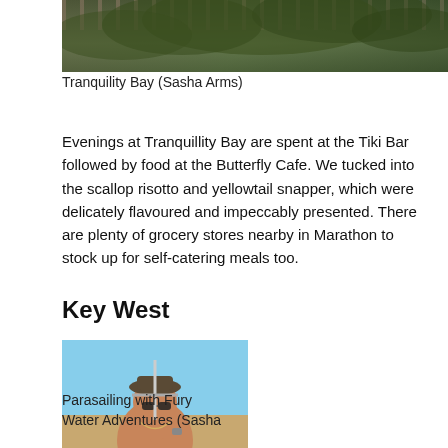[Figure (photo): Top portion of a photo showing palm trees and a railing/fence structure at Tranquility Bay]
Tranquility Bay (Sasha Arms)
Evenings at Tranquillity Bay are spent at the Tiki Bar followed by food at the Butterfly Cafe. We tucked into the scallop risotto and yellowtail snapper, which were delicately flavoured and impeccably presented. There are plenty of grocery stores nearby in Marathon to stock up for self-catering meals too.
Key West
[Figure (photo): A person parasailing, wearing a hat and sunglasses, holding onto parasail equipment against a blue sky background]
Parasailing with Fury Water Adventures (Sasha